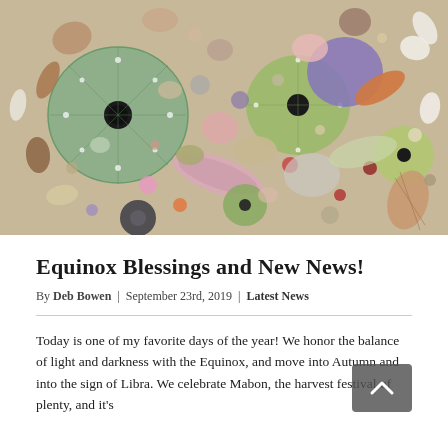[Figure (photo): A colorful collection of seashells, sea urchins, and small stones arranged together — various sizes, shapes, and colors including purple, pink, green, white, and brown.]
Equinox Blessings and New News!
By Deb Bowen | September 23rd, 2019 | Latest News
Today is one of my favorite days of the year! We honor the balance of light and darkness with the Equinox, and move into Autumn and into the sign of Libra. We celebrate Mabon, the harvest festival of plenty, and it's